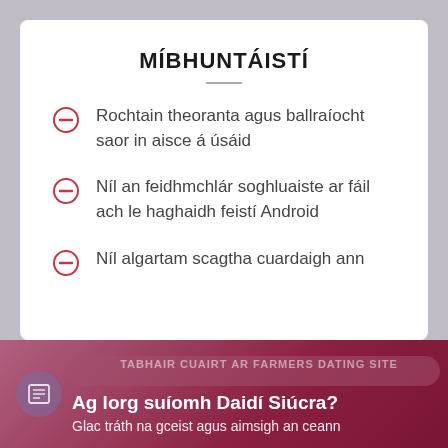MÍBHUNTÁISTÍ
Rochtain theoranta agus ballraíocht saor in aisce á úsáid
Níl an feidhmchlár soghluaiste ar fáil ach le haghaidh feistí Android
Níl algartam scagtha cuardaigh ann
Ag lorg suíomh Daidí Siúcra? Glac tráth na gceist agus aimsigh an ceann